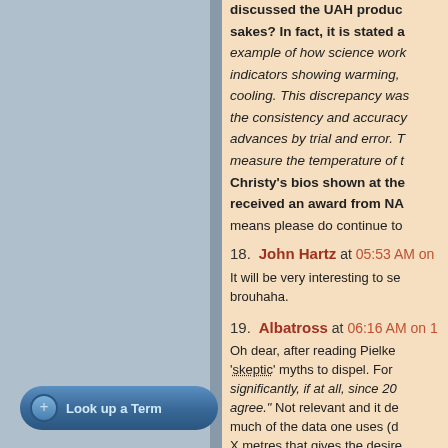discussed the UAH product for sakes? In fact, it is stated a example of how science works indicators showing warming, cooling. This discrepancy was the consistency and accuracy advances by trial and error. T measure the temperature of t Christy's bios shown at the received an award from NA means please do continue to
18. John Hartz at 05:53 AM on - It will be very interesting to see brouhaha.
19. Albatross at 06:16 AM on 1 - Oh dear, after reading Pielke 'skeptic' myths to dispel. For significantly, if at all, since 20 agree. Not relevant and it de much of the data one uses (d X metres that gives the desire your blog, in response to Sam trend since the large El Nino
Look up a Term